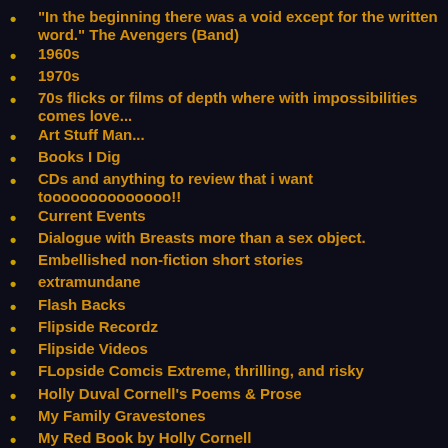"In the beginning there was a void except for the written word." The Avengers (Band)
1960s
1970s
70s flicks or films of depth where with impossibilities comes love...
Art Stuff Man...
Books I Dig
CDs and anything to review that i want toooooooooooooo!!
Current Events
Dialogue with Breasts more than a sex object.
Embellished non-fiction short stories
extramundane
Flash Backs
Flipside Recordz
Flipside Videos
FLopside Comcis Extreme, thrilling, and risky
Holly Duval Cornell's Poems & Prose
My Family Gravestones
My Red Book by Holly Cornell
Nature Politics
PUNK NO-stalgia :Punk Rock
Punk Rock Historian and Professional Consultant.
Hudley Flipside